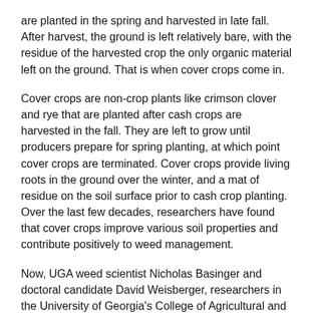are planted in the spring and harvested in late fall. After harvest, the ground is left relatively bare, with the residue of the harvested crop the only organic material left on the ground. That is when cover crops come in.
Cover crops are non-crop plants like crimson clover and rye that are planted after cash crops are harvested in the fall. They are left to grow until producers prepare for spring planting, at which point cover crops are terminated. Cover crops provide living roots in the ground over the winter, and a mat of residue on the soil surface prior to cash crop planting. Over the last few decades, researchers have found that cover crops improve various soil properties and contribute positively to weed management.
Now, UGA weed scientist Nicholas Basinger and doctoral candidate David Weisberger, researchers in the University of Georgia's College of Agricultural and Environmental Sciences, are studying the use of both annual and perennial cover crops called "living mulches" in cotton. Weisberger developed a program to test the use of living mulches and annual cover crops in cotton production in Georgia based on previous work using living mulches in corn production, performed by USA Professor Emerit...